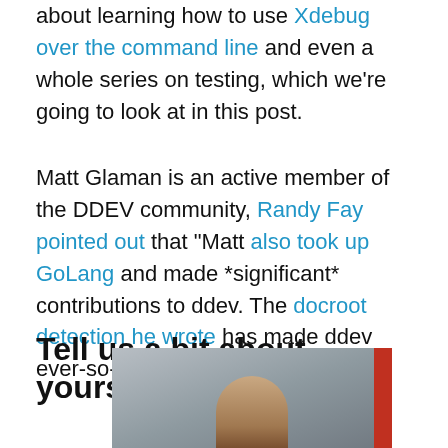about learning how to use Xdebug over the command line and even a whole series on testing, which we're going to look at in this post.
Matt Glaman is an active member of the DDEV community, Randy Fay pointed out that "Matt also took up GoLang and made *significant* contributions to ddev. The docroot detection he wrote has made ddev ever-so-much better." Thanks Matt!
Tell us a bit about yourself, Matt!
[Figure (photo): Partial photo of a person (Matt Glaman) from the shoulders/neck up, with blurred background including a red panel on the right side.]